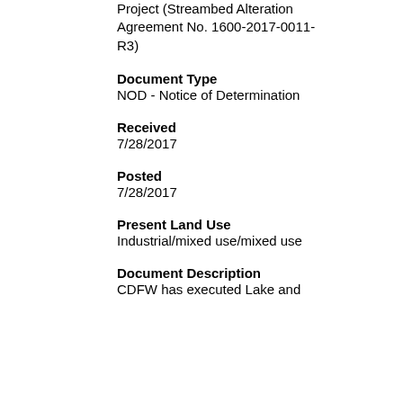Project (Streambed Alteration Agreement No. 1600-2017-0011-R3)
Document Type
NOD - Notice of Determination
Received
7/28/2017
Posted
7/28/2017
Present Land Use
Industrial/mixed use/mixed use
Document Description
CDFW has executed Lake and